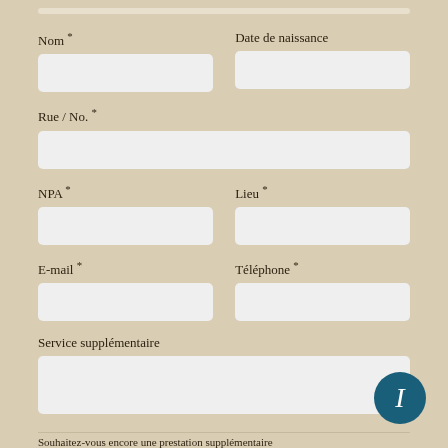Nom *
Date de naissance
Rue / No. *
NPA *
Lieu *
E-mail *
Téléphone *
Service supplémentaire
Souhaitez-vous encore une prestation supplémentaire